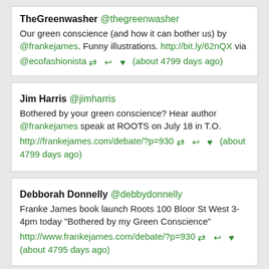TheGreensawher @thegreenwasher
Our green conscience (and how it can bother us) by @frankejames. Funny illustrations. http://bit.ly/62nQX via @ecofashionista [retweet][reply][heart] (about 4799 days ago)
Jim Harris @jimharris
Bothered by your green conscience? Hear author @frankejames speak at ROOTS on July 18 in T.O.
http://frankejames.com/debate/?p=930 [retweet][reply][heart] (about 4799 days ago)
Debborah Donnelly @debbydonnelly
Franke James book launch Roots 100 Bloor St West 3-4pm today "Bothered by my Green Conscience"
http://www.frankejames.com/debate/?p=930 [retweet][reply][heart] (about 4795 days ago)
Andy G. Magent @magent76andy